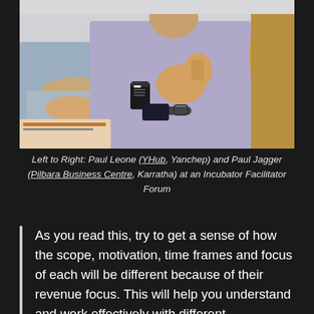[Figure (photo): Photo of two men sitting at a conference table in a business meeting setting. The man on the left wears a light blue shirt and the man in the center wears a purple/lilac checked shirt and is gesturing with his hands. A coffee cup and sunglasses are on the table. A person with long hair is visible on the right edge.]
Left to Right: Paul Leone (YHub, Yanchep) and Paul Jagger (Pilbara Business Centre, Karratha) at an Incubator Facilitator Forum
As you read this, try to get a sense of how the scope, motivation, time frames and focus of each will be different because of their revenue focus. This will help you understand and work effectively with different